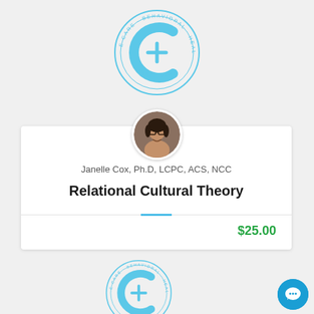[Figure (logo): E Care Behavioral Health Institute circular logo in light blue]
[Figure (photo): Circular headshot photo of Janelle Cox, smiling woman wearing glasses]
Janelle Cox, Ph.D, LCPC, ACS, NCC
Relational Cultural Theory
$25.00
[Figure (logo): E Care Behavioral Health Institute circular logo in light blue (partial, bottom of page)]
[Figure (other): Chat support button (blue circle with chat icon) at bottom right]